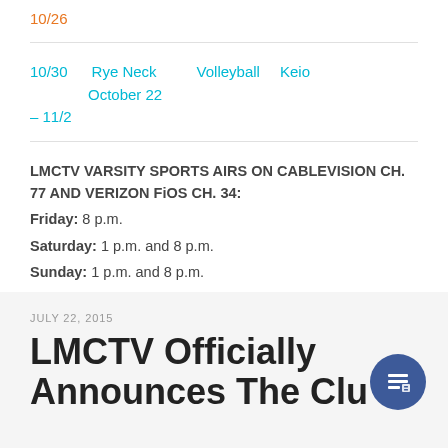10/26
10/30   Rye Neck       Volleyball   Keio                October 22 – 11/2
LMCTV VARSITY SPORTS AIRS ON CABLEVISION CH. 77 AND VERIZON FiOS CH. 34:
Friday: 8 p.m.
Saturday: 1 p.m. and 8 p.m.
Sunday: 1 p.m. and 8 p.m.
Monday: 1 p.m.
JULY 22, 2015
LMCTV Officially Announces The Clu…